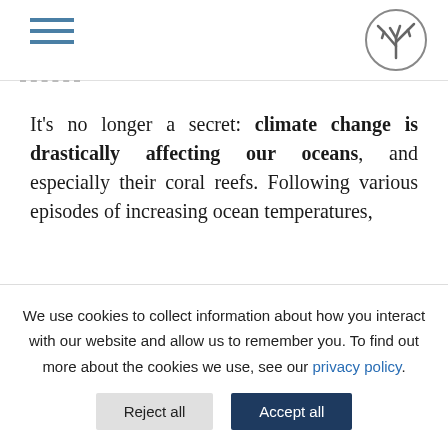[Figure (logo): Hamburger menu icon with three horizontal teal/blue lines on the top left]
[Figure (logo): Circular coral/sea organism icon in grey on the top right]
It’s no longer a secret: climate change is drastically affecting our oceans, and especially their coral reefs. Following various episodes of increasing ocean temperatures,
We use cookies to collect information about how you interact with our website and allow us to remember you. To find out more about the cookies we use, see our privacy policy.
Reject all | Accept all